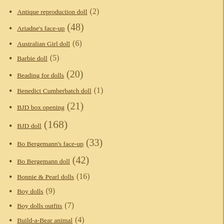Antique reproduction doll (2)
Ariadne's face-up (48)
Australian Girl doll (6)
Barbie doll (5)
Beading for dolls (20)
Benedict Cumberbatch doll (1)
BJD box opening (21)
BJD doll (168)
Bo Bergemann's face-up (33)
Bo Bergemann doll (42)
Bonnie & Pearl dolls (16)
Boy dolls (9)
Boy dolls outfits (7)
Build-a-Bear animal (4)
Canadian Girl dolls (1)
Carpatina doll (30)
Castles and palaces (7)
Casual fashion (292)
Catholic doll (5)